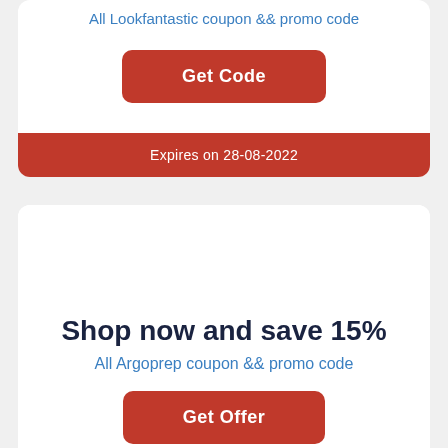All Lookfantastic coupon && promo code
Get Code
Expires on 28-08-2022
Shop now and save 15%
All Argoprep coupon && promo code
Get Offer